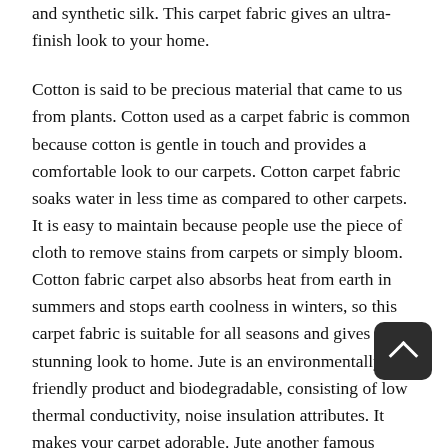and synthetic silk. This carpet fabric gives an ultra-finish look to your home.

Cotton is said to be precious material that came to us from plants. Cotton used as a carpet fabric is common because cotton is gentle in touch and provides a comfortable look to our carpets. Cotton carpet fabric soaks water in less time as compared to other carpets. It is easy to maintain because people use the piece of cloth to remove stains from carpets or simply bloom. Cotton fabric carpet also absorbs heat from earth in summers and stops earth coolness in winters, so this carpet fabric is suitable for all seasons and gives a stunning look to home. Jute is an environmentally friendly product and biodegradable, consisting of low thermal conductivity, noise insulation attributes. It makes your carpet adorable. Jute another famous material used as fabric carpet and popular among all people. Most of the people used these carpet fabrics after dying to make it more beautiful.